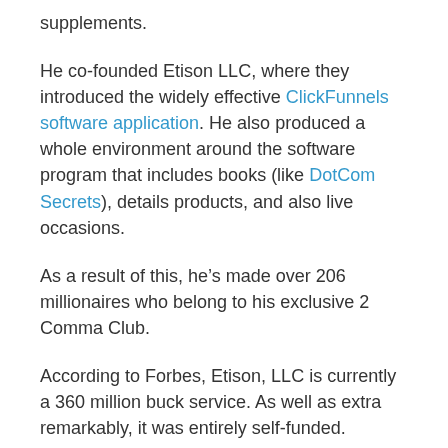supplements.
He co-founded Etison LLC, where they introduced the widely effective ClickFunnels software application. He also produced a whole environment around the software program that includes books (like DotCom Secrets), details products, and also live occasions.
As a result of this, he’s made over 206 millionaires who belong to his exclusive 2 Comma Club.
According to Forbes, Etison, LLC is currently a 360 million buck service. As well as extra remarkably, it was entirely self-funded.